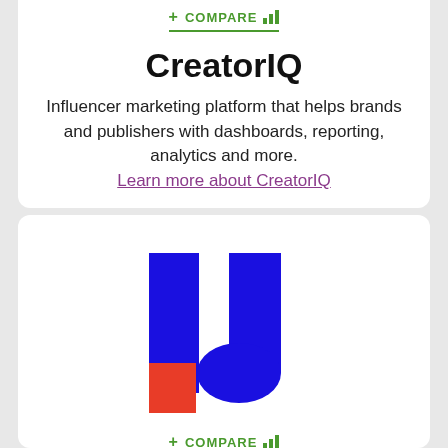+ COMPARE [bar chart icon]
CreatorIQ
Influencer marketing platform that helps brands and publishers with dashboards, reporting, analytics and more.
Learn more about CreatorIQ
[Figure (logo): IJ logo with blue rectangles forming letters I and J, and a red square accent at bottom left of the I]
+ COMPARE [bar chart icon]